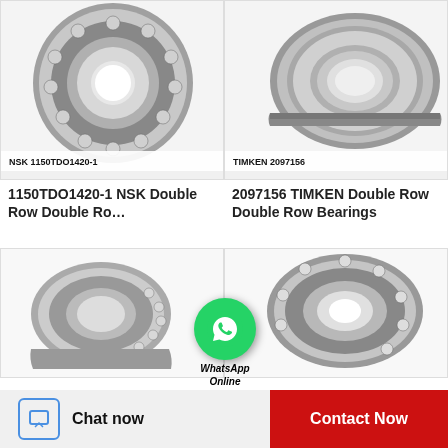[Figure (photo): NSK 1150TDO1420-1 double row bearing, open-face view showing ball elements, silver metallic. Label: NSK 1150TDO1420-1]
[Figure (photo): TIMKEN 2097156 double row bearing, angled side view, shielded, silver metallic. Label: TIMKEN 2097156]
1150TDO1420-1 NSK Double Row Double Ro...
2097156 TIMKEN Double Row Double Row Bearings
[Figure (photo): Double row bearing, angled side view, smaller bearing showing ball elements, silver metallic, no label visible.]
[Figure (photo): Double row bearing, open-face angled view showing ball elements, silver metallic, no label visible.]
[Figure (logo): WhatsApp Online green circle icon with phone handset, with text 'WhatsApp Online' below]
Chat now
Contact Now